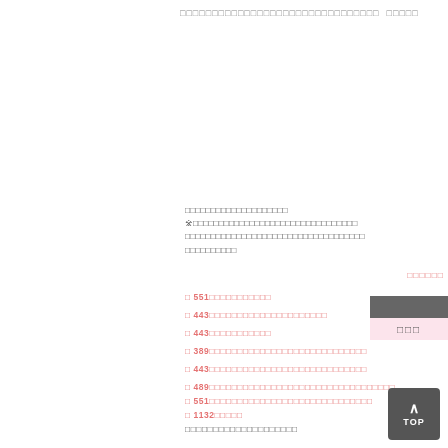□□□□□□□□□□□□□□□□□□□□□□□□□□□□□□□ □□□□□
| □□□ |
| --- |
□□□□□□□□□□□□□□□□□□□□
※□□□□□□□□□□□□□□□□□□□□□□□□□□□□□□□□
□□□□□□□□□□□□□□□□□□□□□□□□□□□□□□□□□□□
□□□□□□□□□□
□□□□□□
□ 551□□□□□□□□□□□
□ 443□□□□□□□□□□□□□□□□□□□□□
□ 443□□□□□□□□□□□
□ 389□□□□□□□□□□□□□□□□□□□□□□□□□□□□
□ 443□□□□□□□□□□□□□□□□□□□□□□□□□□□□
□ 489□□□□□□□□□□□□□□□□□□□□□□□□□□□□□□□□□
□ 551□□□□□□□□□□□□□□□□□□□□□□□□□□□□□
□ 1132□□□□□
□□□□□□□□□□□□□□□□□□□□